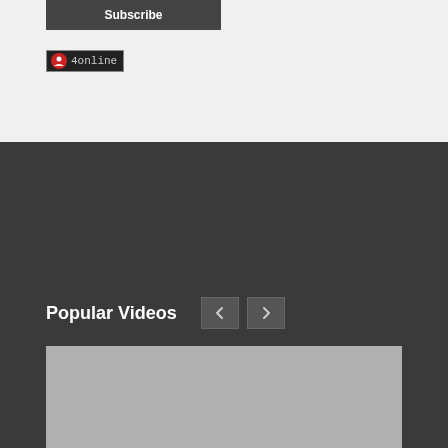[Figure (screenshot): Subscribe button - dark gray button with white bold 'Subscribe' text]
[Figure (screenshot): Online badge showing an icon and '4online' text in a dark bordered box]
Popular Videos
[Figure (screenshot): Video thumbnail placeholder (gray rectangle) with like count badge '23' and duration badge '12:31']
Introduction & The Proof of Construction